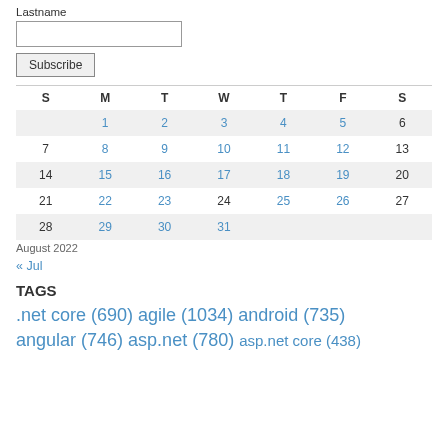Lastname
[input field]
Subscribe
| S | M | T | W | T | F | S |
| --- | --- | --- | --- | --- | --- | --- |
|  | 1 | 2 | 3 | 4 | 5 | 6 |
| 7 | 8 | 9 | 10 | 11 | 12 | 13 |
| 14 | 15 | 16 | 17 | 18 | 19 | 20 |
| 21 | 22 | 23 | 24 | 25 | 26 | 27 |
| 28 | 29 | 30 | 31 |  |  |  |
August 2022
« Jul
TAGS
.net core (690) agile (1034) android (735) angular (746) asp.net (780) asp.net core (438)